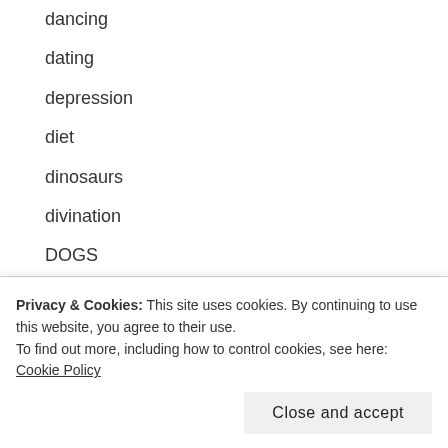dancing
dating
depression
diet
dinosaurs
divination
DOGS
domestic violence
dragons
dreams
Privacy & Cookies: This site uses cookies. By continuing to use this website, you agree to their use.
To find out more, including how to control cookies, see here: Cookie Policy
Close and accept